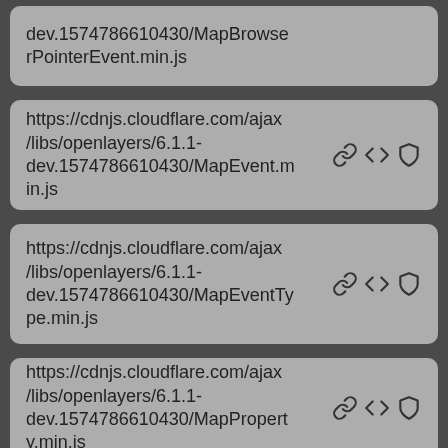dev.1574786610430/MapBrowserPointerEvent.min.js
https://cdnjs.cloudflare.com/ajax/libs/openlayers/6.1.1-dev.1574786610430/MapEvent.min.js
https://cdnjs.cloudflare.com/ajax/libs/openlayers/6.1.1-dev.1574786610430/MapEventType.min.js
https://cdnjs.cloudflare.com/ajax/libs/openlayers/6.1.1-dev.1574786610430/MapProperty.min.js